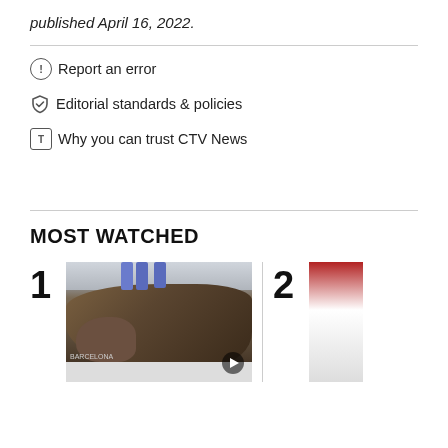published April 16, 2022.
Report an error
Editorial standards & policies
Why you can trust CTV News
MOST WATCHED
[Figure (photo): Numbered item 1: Walrus on a boat, with people visible standing in background. Play button overlay visible.]
[Figure (photo): Numbered item 2: Partial image showing red and white colors, partially cut off at right edge.]